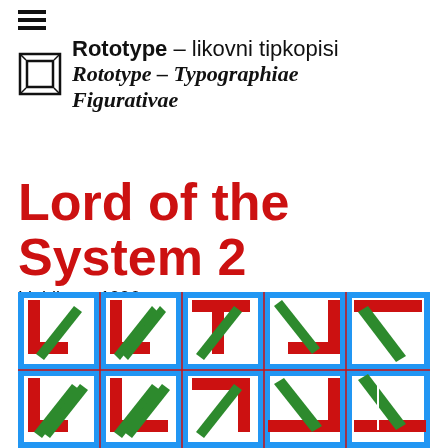Rototype – likovni tipkopisi
Rototype – Typographiae Figurativae
Lord of the System 2
Ljubljana, 1996
[Figure (illustration): Grid of 10 coloured square letterform compositions on blue background, arranged 5×2, showing stylized letter forms made of red, green, and white angular shapes with blue frames.]